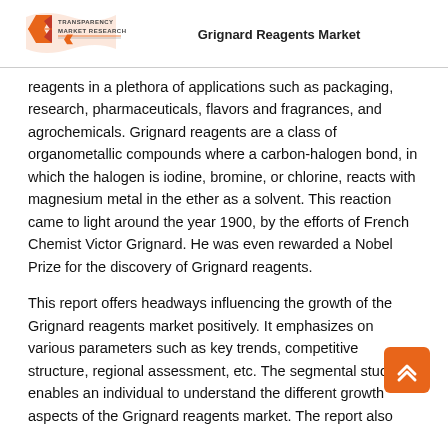Grignard Reagents Market
reagents in a plethora of applications such as packaging, research, pharmaceuticals, flavors and fragrances, and agrochemicals. Grignard reagents are a class of organometallic compounds where a carbon-halogen bond, in which the halogen is iodine, bromine, or chlorine, reacts with magnesium metal in the ether as a solvent. This reaction came to light around the year 1900, by the efforts of French Chemist Victor Grignard. He was even rewarded a Nobel Prize for the discovery of Grignard reagents.
This report offers headways influencing the growth of the Grignard reagents market positively. It emphasizes on various parameters such as key trends, competitive structure, regional assessment, etc. The segmental study enables an individual to understand the different growth aspects of the Grignard reagents market. The report also